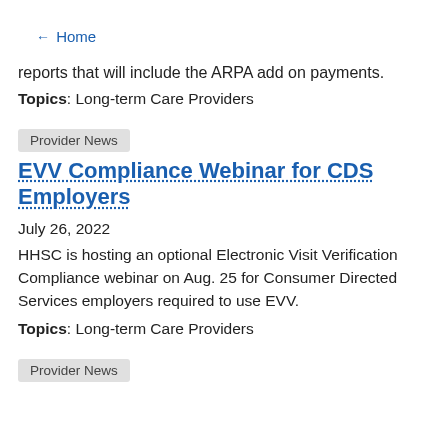← Home
reports that will include the ARPA add on payments.
Topics: Long-term Care Providers
Provider News
EVV Compliance Webinar for CDS Employers
July 26, 2022
HHSC is hosting an optional Electronic Visit Verification Compliance webinar on Aug. 25 for Consumer Directed Services employers required to use EVV.
Topics: Long-term Care Providers
Provider News